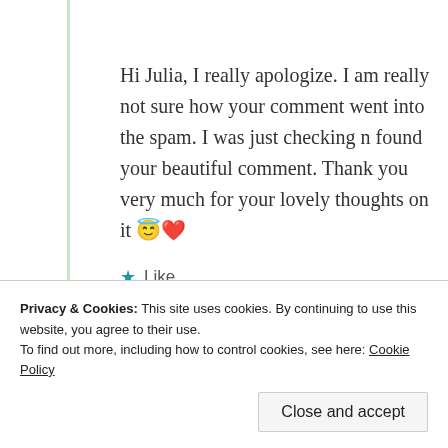Hi Julia, I really apologize. I am really not sure how your comment went into the spam. I was just checking n found your beautiful comment. Thank you very much for your lovely thoughts on it 😇❤️
★ Like
Log in to Reply
Privacy & Cookies: This site uses cookies. By continuing to use this website, you agree to their use.
To find out more, including how to control cookies, see here: Cookie Policy
Close and accept